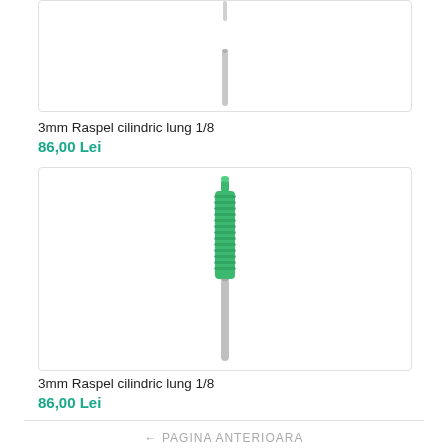[Figure (photo): Partial product image of a cylindrical dental/nail drill bit on white background, top portion cut off]
3mm Raspel cilindric lung 1/8
86,00 Lei
[Figure (photo): Green cylindrical dental/nail drill bit (raspel) with metal shank on white background]
3mm Raspel cilindric lung 1/8
86,00 Lei
← PAGINA ANTERIOARA